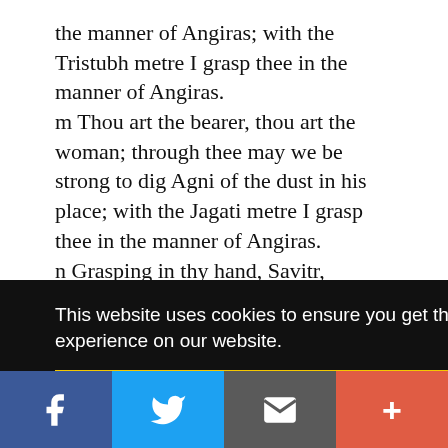the manner of Angiras; with the Tristubh metre I grasp thee in the manner of Angiras.
m Thou art the bearer, thou art the woman; through thee may we be strong to dig Agni of the dust in his place; with the Jagati metre I grasp thee in the manner of Angiras.
n Grasping in thy hand, Savitr,
Bearing the spade of gold,
Therewith digging Agni
This website uses cookies to ensure you get the best experience on our website.
Got it!
[Figure (other): Social sharing bar with four buttons: Facebook (blue), Twitter (light blue), Email/envelope (gray), and Plus/add (red-orange)]